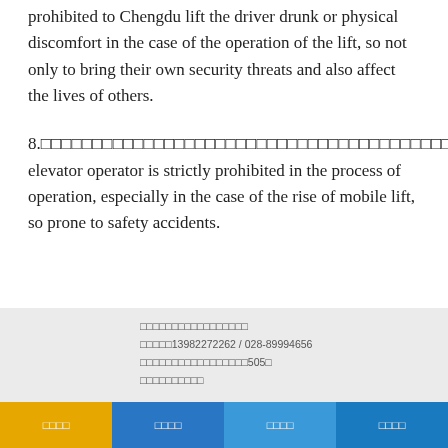prohibited to Chengdu lift the driver drunk or physical discomfort in the case of the operation of the lift, so not only to bring their own security threats and also affect the lives of others.
8.□□□□□□□□□□□□□□□□□□□□□□□□□□□□□□□□□□□□□□□□Chengdu elevator operator is strictly prohibited in the process of operation, especially in the case of the rise of mobile lift, so prone to safety accidents.
□□□□□□□□□□□□□□□□□
□□□□□13982272262 / 028-89994656
□□□□□□□□□□□□□□□□□505□
□□□□□□□□□□
□□□□  □□□□  □□□□  □□□□